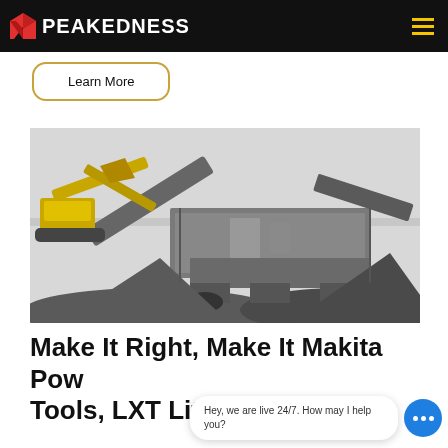PEAKEDNESS
Learn More
[Figure (photo): A large mobile crushing/screening machine with a yellow excavator loading material on the left, set against a grey sky with piles of crushed aggregate around it.]
Make It Right, Make It Makita Power Tools, LXT Lithium Ion
Hey, we are live 24/7. How may I help you?